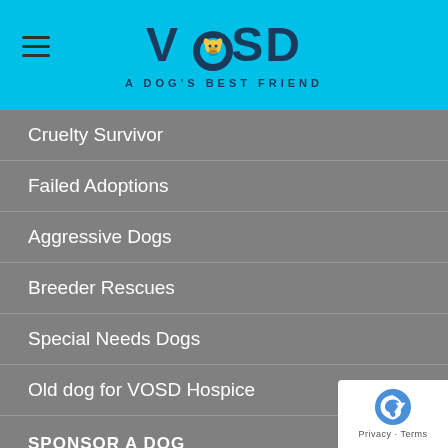[Figure (logo): VOSD - A Dog's Best Friend logo on cyan background with hamburger menu icon]
Cruelty Survivor
Failed Adoptions
Aggressive Dogs
Breeder Rescues
Special Needs Dogs
Old dog for VOSD Hospice
SPONSOR A DOG
Husna
Bablu
Kinza
Moti